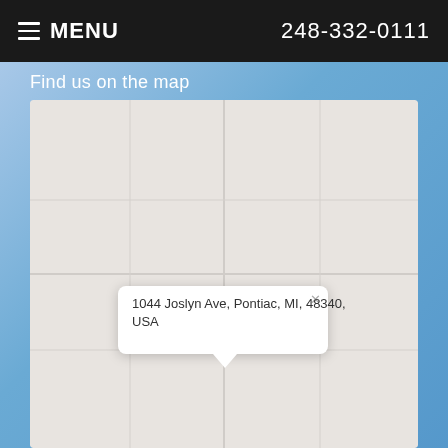≡ MENU   248-332-0111
Find us on the map
[Figure (map): Google Maps view showing location at 1044 Joslyn Ave, Pontiac, MI, 48340, USA with a popup callout displaying the address and an X close button.]